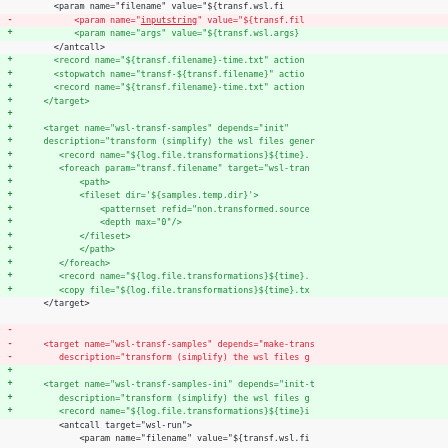[Figure (screenshot): A code diff view showing XML/Ant build file changes with added lines (green, +) and removed lines (red, -). Content includes param elements, antcall, record, stopwatch, target, foreach, path, fileset, patternset, depth, copy tags with various attribute values using ${...} property references.]